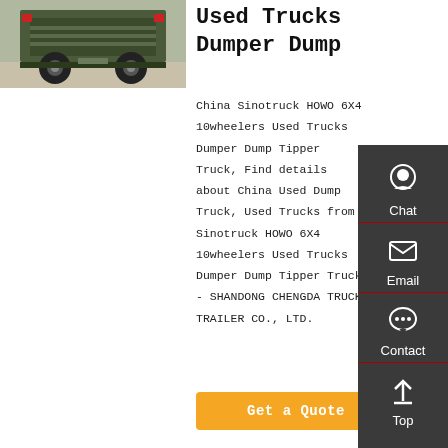[Figure (photo): Rear view of a heavy-duty dump truck (HOWO) on a paved lot]
Used Trucks Dumper Dump
China Sinotruck HOWO 6X4 10wheelers Used Trucks Dumper Dump Tipper Truck, Find details about China Used Dump Truck, Used Trucks from Sinotruck HOWO 6X4 10wheelers Used Trucks Dumper Dump Tipper Truck - SHANDONG CHENGDA TRUCK TRAILER CO., LTD.
Get a Quote